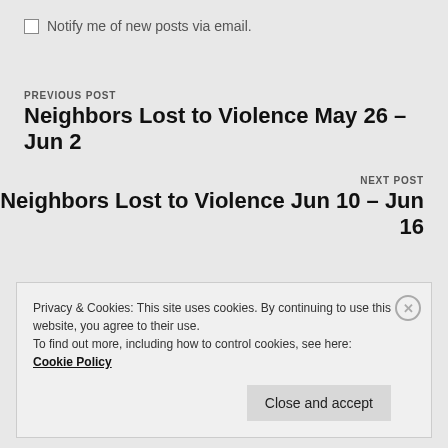Notify me of new posts via email.
PREVIOUS POST
Neighbors Lost to Violence May 26 – Jun 2
NEXT POST
Neighbors Lost to Violence Jun 10 – Jun 16
Privacy & Cookies: This site uses cookies. By continuing to use this website, you agree to their use.
To find out more, including how to control cookies, see here: Cookie Policy
Close and accept